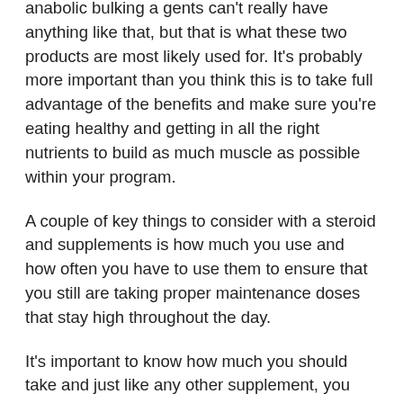anabolic bulking a gents can't really have anything like that, but that is what these two products are most likely used for. It's probably more important than you think this is to take full advantage of the benefits and make sure you're eating healthy and getting in all the right nutrients to build as much muscle as possible within your program.
A couple of key things to consider with a steroid and supplements is how much you use and how often you have to use them to ensure that you still are taking proper maintenance doses that stay high throughout the day.
It's important to know how much you should take and just like any other supplement, you don't want to take in too much, clenbuterol y ambroxol. There could be some side effects of taking too